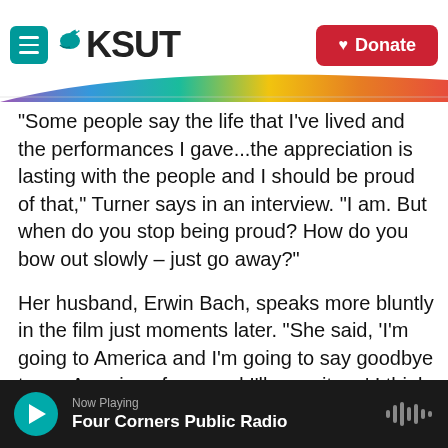KSUT
"Some people say the life that I've lived and the performances I gave...the appreciation is lasting with the people and I should be proud of that," Turner says in an interview. "I am. But when do you stop being proud? How do you bow out slowly – just go away?"
Her husband, Erwin Bach, speaks more bluntly in the film just moments later. "She said, 'I'm going to America and I'm going to say goodbye to my American fans, and I'll wrap it up.' I think this documentary and the [musical] – this is it. It's a
Now Playing
Four Corners Public Radio